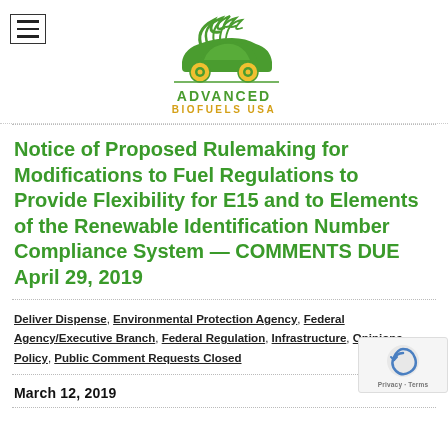[Figure (logo): Advanced Biofuels USA logo — green car with yellow wheels and green plant design above, with 'ADVANCED' in green and 'BIOFUELS USA' in yellow text below]
Notice of Proposed Rulemaking for Modifications to Fuel Regulations to Provide Flexibility for E15 and to Elements of the Renewable Identification Number Compliance System — COMMENTS DUE April 29, 2019
Deliver Dispense, Environmental Protection Agency, Federal Agency/Executive Branch, Federal Regulation, Infrastructure, Opinions, Policy, Public Comment Requests Closed
March 12, 2019